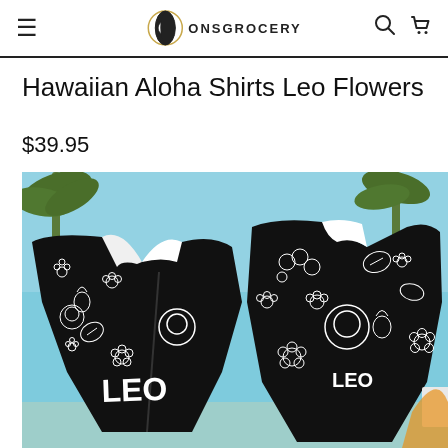≡  ONSGROCERY  🔍  🛒
Hawaiian Aloha Shirts Leo Flowers
$39.95
[Figure (photo): Black Hawaiian aloha shirt with white tropical flowers, monstera leaves, pineapples, and lion zodiac (Leo) motifs. Two views shown: front and back of shirt against a tropical beach background with blue sky and palm trees.]